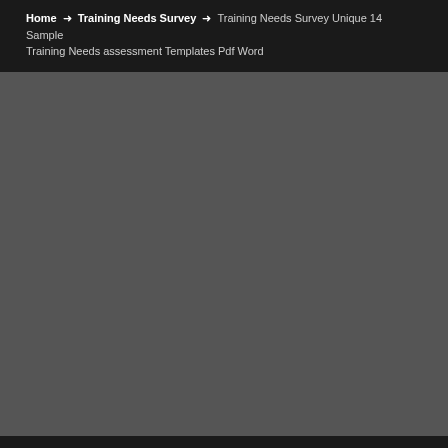Home → Training Needs Survey → Training Needs Survey Unique 14 Sample Training Needs assessment Templates Pdf Word